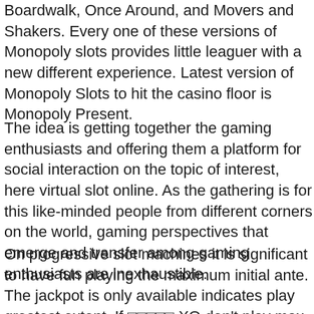Boardwalk, Once Around, and Movers and Shakers. Every one of these versions of Monopoly slots provides little leaguer with a new different experience. Latest version of Monopoly Slots to hit the casino floor is Monopoly Present.
The idea is getting together the gaming enthusiasts and offering them a platform for social interaction on the topic of interest, here virtual slot online. As the gathering is for this like-minded people from different corners on the world, gaming perspectives that emerge and transfer among gaming enthusiasts are inexhaustible.
On progressive slot machines it is significant to have fun playing the maximum initial ante. The jackpot is only available indicates play greatest extent. If [링크텍스트 XO] don't play max bet and hit the